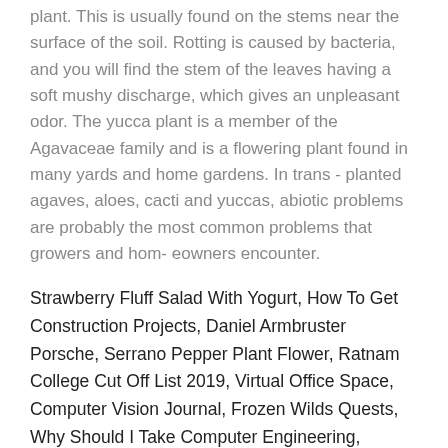plant. This is usually found on the stems near the surface of the soil. Rotting is caused by bacteria, and you will find the stem of the leaves having a soft mushy discharge, which gives an unpleasant odor. The yucca plant is a member of the Agavaceae family and is a flowering plant found in many yards and home gardens. In trans - planted agaves, aloes, cacti and yuccas, abiotic problems are probably the most common problems that growers and hom- eowners encounter.
Strawberry Fluff Salad With Yogurt, How To Get Construction Projects, Daniel Armbruster Porsche, Serrano Pepper Plant Flower, Ratnam College Cut Off List 2019, Virtual Office Space, Computer Vision Journal, Frozen Wilds Quests, Why Should I Take Computer Engineering, Importance Of Nursing In Society, Patons Fairytale Fab Dk,
[Figure (other): Horizontal divider line followed by a row of social media icon circles (6 icons partially visible)]